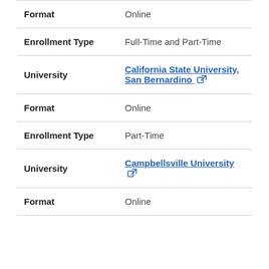| Field | Value |
| --- | --- |
| Format | Online |
| Enrollment Type | Full-Time and Part-Time |
| University | California State University, San Bernardino |
| Format | Online |
| Enrollment Type | Part-Time |
| University | Campbellsville University |
| Format | Online |